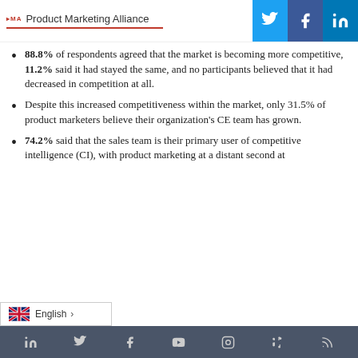Product Marketing Alliance
88.8% of respondents agreed that the market is becoming more competitive, 11.2% said it had stayed the same, and no participants believed that it had decreased in competition at all.
Despite this increased competitiveness within the market, only 31.5% of product marketers believe their organization's CE team has grown.
74.2% said that the sales team is their primary user of competitive intelligence (CI), with product marketing at a distant second at
Social media icons: LinkedIn, Twitter, Facebook, YouTube, Instagram, Slack, RSS